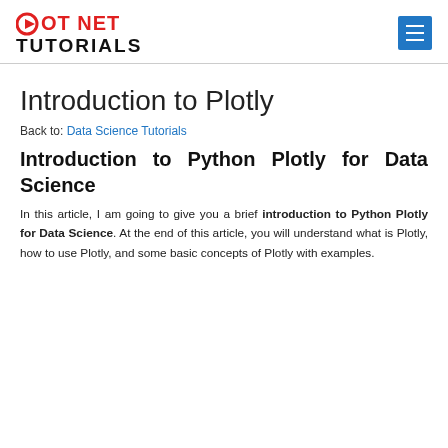DOT NET TUTORIALS
Introduction to Plotly
Back to: Data Science Tutorials
Introduction to Python Plotly for Data Science
In this article, I am going to give you a brief introduction to Python Plotly for Data Science. At the end of this article, you will understand what is Plotly, how to use Plotly, and some basic concepts of Plotly with examples.